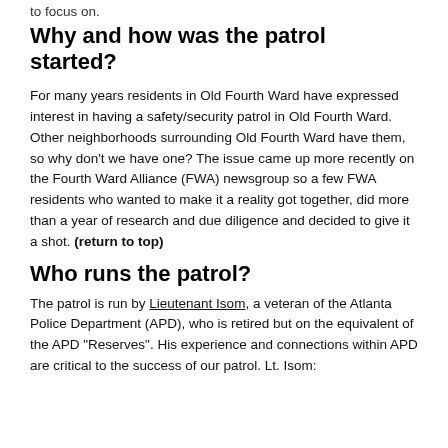to focus on.
Why and how was the patrol started?
For many years residents in Old Fourth Ward have expressed interest in having a safety/security patrol in Old Fourth Ward. Other neighborhoods surrounding Old Fourth Ward have them, so why don't we have one? The issue came up more recently on the Fourth Ward Alliance (FWA) newsgroup so a few FWA residents who wanted to make it a reality got together, did more than a year of research and due diligence and decided to give it a shot. (return to top)
Who runs the patrol?
The patrol is run by Lieutenant Isom, a veteran of the Atlanta Police Department (APD), who is retired but on the equivalent of the APD "Reserves". His experience and connections within APD are critical to the success of our patrol. Lt. Isom: